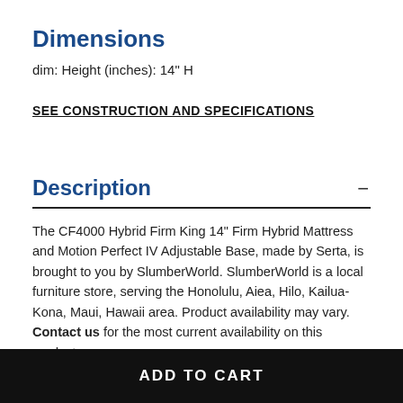Dimensions
dim: Height (inches): 14" H
SEE CONSTRUCTION AND SPECIFICATIONS
Description
The CF4000 Hybrid Firm King 14" Firm Hybrid Mattress and Motion Perfect IV Adjustable Base, made by Serta, is brought to you by SlumberWorld. SlumberWorld is a local furniture store, serving the Honolulu, Aiea, Hilo, Kailua-Kona, Maui, Hawaii area. Product availability may vary. Contact us for the most current availability on this product.
Adjustable
ADD TO CART